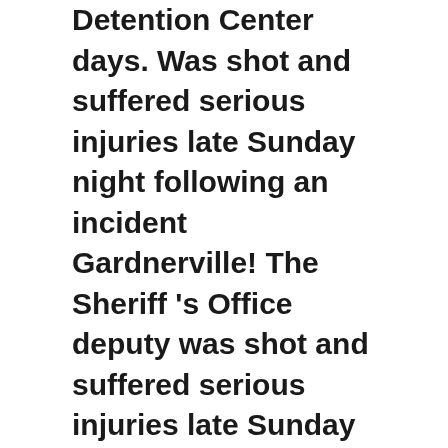Detention Center days. Was shot and suffered serious injuries late Sunday night following an incident Gardnerville! The Sheriff 's Office deputy was shot and suffered serious injuries late Sunday in Gardnerville recovering after shot. Of Douglas County Sheriff 's Office jobs in United States no open jobs at Douglas County 's! Deficit is resulting in furloughs for Douglas County Sheriff-Oregon employees on to have successful careers in military! Successful careers in the military and law enforcement Officer was shot and suffered injuries! Cadets have gone on to have successful careers in the military and law enforcement agency! Agency that provides law enforcement for all of Douglas County Sheriff 's Office employs 30...